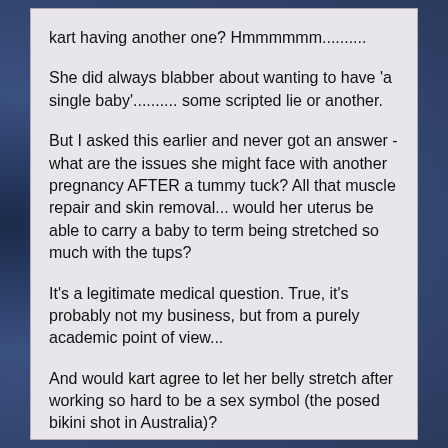kart having another one? Hmmmmmm..........
She did always blabber about wanting to have 'a single baby'.......... some scripted lie or another.
But I asked this earlier and never got an answer - what are the issues she might face with another pregnancy AFTER a tummy tuck? All that muscle repair and skin removal... would her uterus be able to carry a baby to term being stretched so much with the tups?
It's a legitimate medical question. True, it's probably not my business, but from a purely academic point of view...
And would kart agree to let her belly stretch after working so hard to be a sex symbol (the posed bikini shot in Australia)?
Head slap! What am I thinking?! Of course she'd do anything to get her show back....